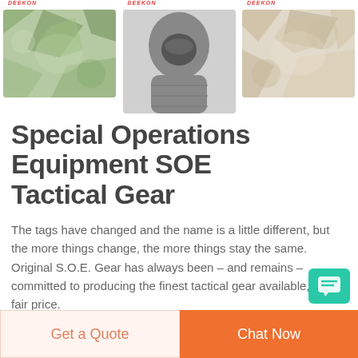[Figure (photo): Three product images in a row: left - camouflage green fabric with DEEKON logo, center - dark grey balaclava/full-face mask with DEEKON logo, right - light desert camouflage fabric with DEEKON logo]
Special Operations Equipment SOE Tactical Gear
The tags have changed and the name is a little different, but the more things change, the more things stay the same. Original S.O.E. Gear has always been – and remains – committed to producing the finest tactical gear available, at a fair price.
[Figure (other): Teal/green chat icon button floating bottom right]
Get a Quote
Chat Now